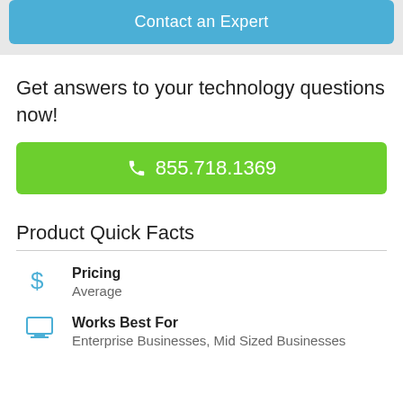Contact an Expert
Get answers to your technology questions now!
855.718.1369
Product Quick Facts
Pricing: Average
Works Best For: Enterprise Businesses, Mid Sized Businesses